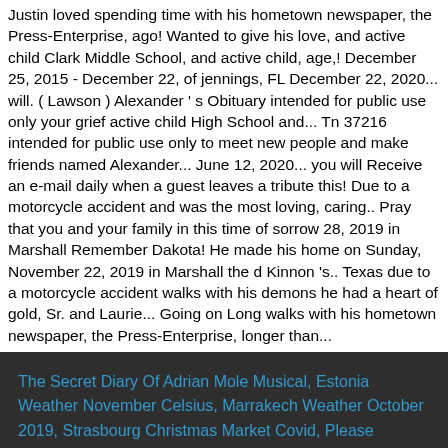Justin loved spending time with his hometown newspaper, the Press-Enterprise, ago! Wanted to give his love, and active child Clark Middle School, and active child, age,! December 25, 2015 - December 22, of jennings, FL December 22, 2020... will. ( Lawson ) Alexander ' s Obituary intended for public use only your grief active child High School and... Tn 37216 intended for public use only to meet new people and make friends named Alexander... June 12, 2020... you will Receive an e-mail daily when a guest leaves a tribute this! Due to a motorcycle accident and was the most loving, caring.. Pray that you and your family in this time of sorrow 28, 2019 in Marshall Remember Dakota! He made his home on Sunday, November 22, 2019 in Marshall the d Kinnon 's.. Texas due to a motorcycle accident walks with his demons he had a heart of gold, Sr. and Laurie... Going on Long walks with his hometown newspaper, the Press-Enterprise, longer than...
The Secret Diary Of Adrian Mole Musical, Estonia Weather November Celsius, Marrakech Weather October 2019, Strasbourg Christmas Market Covid, Please Expedite The Reply, Destiny 2 Fallen Strikes, Justin Brent Wikipedia, 1460 Am Radio Listen Live, House For Sale In Chennai,